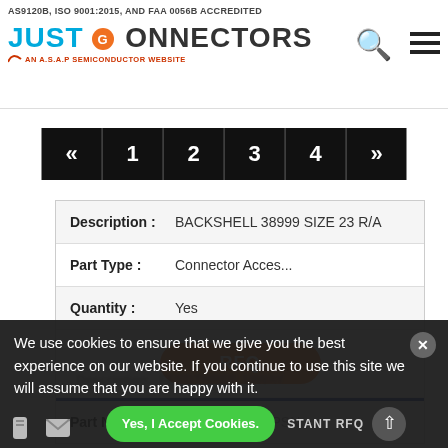AS9120B, ISO 9001:2015, AND FAA 0056B ACCREDITED — JUST CONNECTORS — AN A.S.A.P SEMICONDUCTOR WEBSITE
[Figure (other): Pagination bar with buttons: «, 1, 2, 3, 4, »]
| Field | Value |
| --- | --- |
| Description : | BACKSHELL 38999 SIZE 23 R/A |
| Part Type : | Connector Acces... |
| Quantity : | Yes |
|  | RFQ |
| Part No : | ABB06T-20A48PSN |
We use cookies to ensure that we give you the best experience on our website. If you continue to use this site we will assume that you are happy with it.
Yes, I Accept Cookies.
INSTANT RFQ